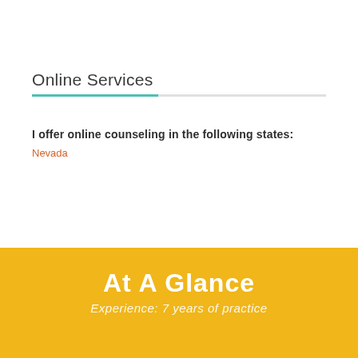Online Services
I offer online counseling in the following states:
Nevada
At A Glance
Experience: 7 years of practice